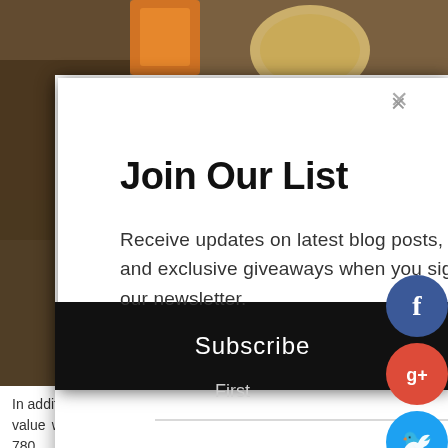[Figure (photo): Background photo of food/breakfast items with dark warm tones, partially visible behind a modal popup overlay]
Join Our List
Receive updates on latest blog posts, offers, and exclusive giveaways when you sign up for our newsletter.
[Figure (screenshot): Email signup form with First and Last name fields and Email Address field]
Subscribe
In addition to having good tasting low carb breakfast entree value was amazing. I paid $8.80 for 2 breakfast entrees, and got 780
[Figure (infographic): Social media share buttons on right side: Facebook (dark blue), Google+ (red), Twitter (light blue), Pinterest (red), Tumblr (dark blue), Reddit (orange)]